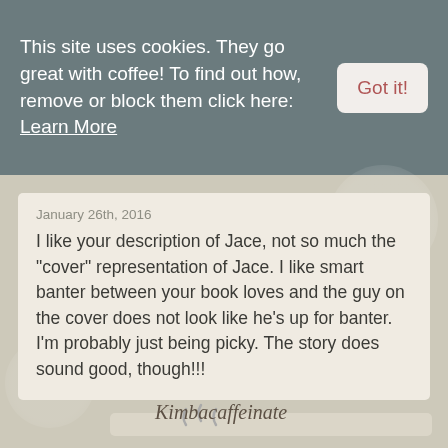This site uses cookies. They go great with coffee! To find out how, remove or block them click here: Learn More
Got it!
January 26th, 2016
I like your description of Jace, not so much the “cover” representation of Jace. I like smart banter between your book loves and the guy on the cover does not look like he's up for banter. I'm probably just being picky. The story does sound good, though!!!
[Figure (illustration): Illustration of a dark red/maroon coffee cup with the word 'Caffeinated' written on it in white cursive text, with steam rising from it, sitting on a saucer]
Kimbacaffeinate